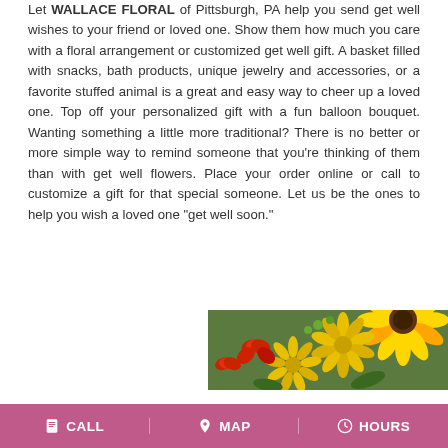Let WALLACE FLORAL of Pittsburgh, PA help you send get well wishes to your friend or loved one. Show them how much you care with a floral arrangement or customized get well gift. A basket filled with snacks, bath products, unique jewelry and accessories, or a favorite stuffed animal is a great and easy way to cheer up a loved one. Top off your personalized gift with a fun balloon bouquet. Wanting something a little more traditional? There is no better or more simple way to remind someone that you're thinking of them than with get well flowers. Place your order online or call to customize a gift for that special someone. Let us be the ones to help you wish a loved one "get well soon."
[Figure (photo): A close-up photo of colorful flowers including yellow gerbera daisies, yellow mums, and red carnations with green foliage.]
CALL   MAP   HOURS